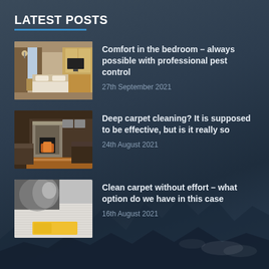LATEST POSTS
Comfort in the bedroom – always possible with professional pest control
27th September 2021
Deep carpet cleaning? It is supposed to be effective, but is it really so
24th August 2021
Clean carpet without effort – what option do we have in this case
16th August 2021